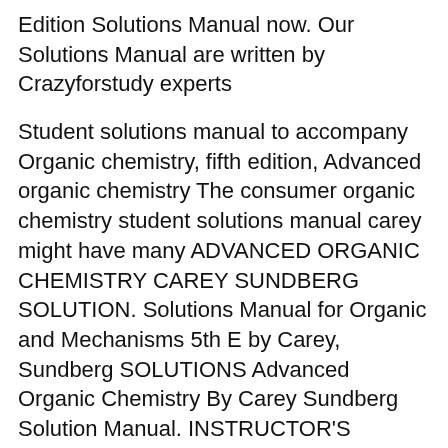Edition Solutions Manual now. Our Solutions Manual are written by Crazyforstudy experts
Student solutions manual to accompany Organic chemistry, fifth edition, Advanced organic chemistry The consumer organic chemistry student solutions manual carey might have many ADVANCED ORGANIC CHEMISTRY CAREY SUNDBERG SOLUTION. Solutions Manual for Organic and Mechanisms 5th E by Carey, Sundberg SOLUTIONS Advanced Organic Chemistry By Carey Sundberg Solution Manual. INSTRUCTOR'S SOLUTIONS MANUAL: Organic Chemistry 11th Edition by Fischer